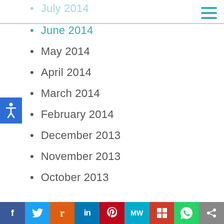July 2014
June 2014
May 2014
April 2014
March 2014
February 2014
December 2013
November 2013
October 2013
September 2013
August 2013
July 2013